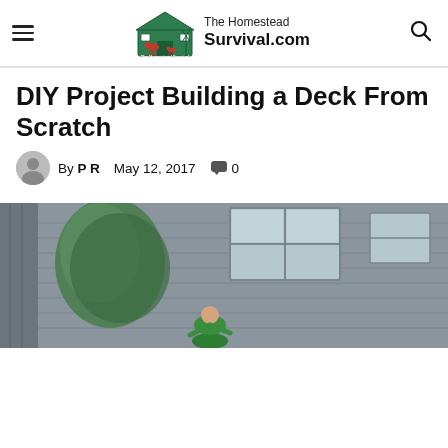The Homestead Survival.com
DIY Project Building a Deck From Scratch
By P R   May 12, 2017   0
[Figure (photo): Person working on building a deck next to a house with grey siding and windows, with a tree visible in the background.]